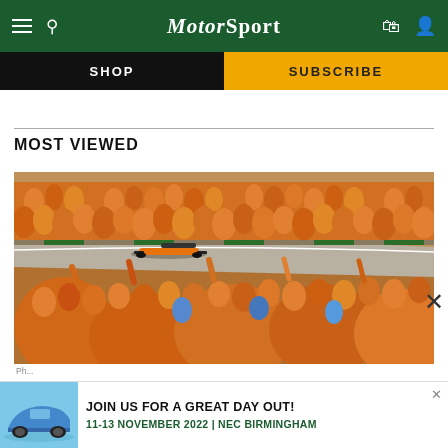Motor Sport
SHOP
SUBSCRIBE
MOST VIEWED
[Figure (photo): Formula 1 race car on track at Zandvoort with large crowd of orange-clad Dutch fans celebrating in the foreground and grandstands]
[Figure (photo): Advertisement banner: blue Porsche 911 car with text JOIN US FOR A GREAT DAY OUT! 11-13 NOVEMBER 2022 | NEC BIRMINGHAM]